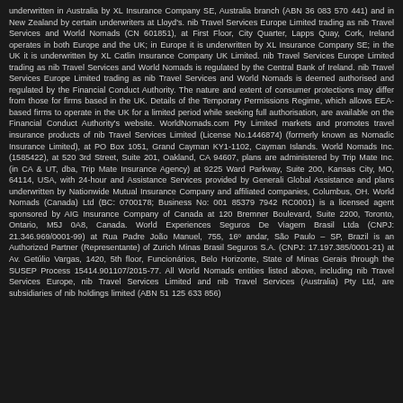underwritten in Australia by XL Insurance Company SE, Australia branch (ABN 36 083 570 441) and in New Zealand by certain underwriters at Lloyd's. nib Travel Services Europe Limited trading as nib Travel Services and World Nomads (CN 601851), at First Floor, City Quarter, Lapps Quay, Cork, Ireland operates in both Europe and the UK; in Europe it is underwritten by XL Insurance Company SE; in the UK it is underwritten by XL Catlin Insurance Company UK Limited. nib Travel Services Europe Limited trading as nib Travel Services and World Nomads is regulated by the Central Bank of Ireland. nib Travel Services Europe Limited trading as nib Travel Services and World Nomads is deemed authorised and regulated by the Financial Conduct Authority. The nature and extent of consumer protections may differ from those for firms based in the UK. Details of the Temporary Permissions Regime, which allows EEA-based firms to operate in the UK for a limited period while seeking full authorisation, are available on the Financial Conduct Authority's website. WorldNomads.com Pty Limited markets and promotes travel insurance products of nib Travel Services Limited (License No.1446874) (formerly known as Nomadic Insurance Limited), at PO Box 1051, Grand Cayman KY1-1102, Cayman Islands. World Nomads Inc. (1585422), at 520 3rd Street, Suite 201, Oakland, CA 94607, plans are administered by Trip Mate Inc. (in CA & UT, dba, Trip Mate Insurance Agency) at 9225 Ward Parkway, Suite 200, Kansas City, MO, 64114, USA, with 24-hour and Assistance Services provided by Generali Global Assistance and plans underwritten by Nationwide Mutual Insurance Company and affiliated companies, Columbus, OH. World Nomads (Canada) Ltd (BC: 0700178; Business No: 001 85379 7942 RC0001) is a licensed agent sponsored by AIG Insurance Company of Canada at 120 Bremner Boulevard, Suite 2200, Toronto, Ontario, M5J 0A8, Canada. World Experiences Seguros De Viagem Brasil Ltda (CNPJ: 21.346.969/0001-99) at Rua Padre João Manuel, 755, 16º andar, São Paulo – SP, Brazil is an Authorized Partner (Representante) of Zurich Minas Brasil Seguros S.A. (CNPJ: 17.197.385/0001-21) at Av. Getúlio Vargas, 1420, 5th floor, Funcionários, Belo Horizonte, State of Minas Gerais through the SUSEP Process 15414.901107/2015-77. All World Nomads entities listed above, including nib Travel Services Europe, nib Travel Services Limited and nib Travel Services (Australia) Pty Ltd, are subsidiaries of nib holdings limited (ABN 51 125 633 856)